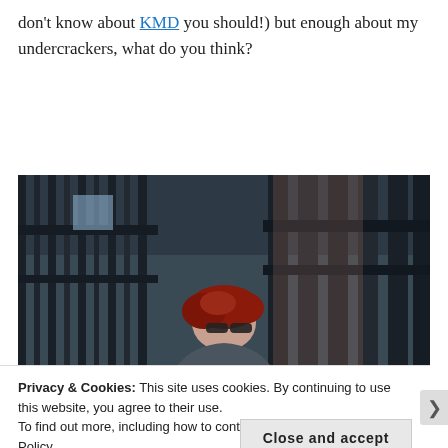don't know about KMD you should!) but enough about my undercrackers, what do you think?
[Figure (photo): A person with red/dark curly hair and sunglasses standing in front of dark industrial metal fence or gate structure, brick building visible in background]
Privacy & Cookies: This site uses cookies. By continuing to use this website, you agree to their use. To find out more, including how to control cookies, see here: Cookie Policy
Close and accept